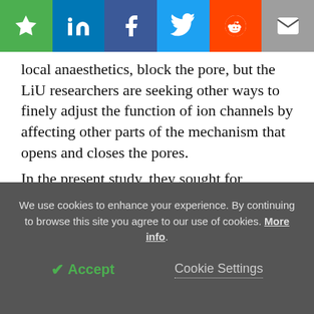[Figure (other): Social sharing toolbar with star/bookmark, LinkedIn, Facebook, Twitter, Reddit, and email icons on colored backgrounds]
local anaesthetics, block the pore, but the LiU researchers are seeking other ways to finely adjust the function of ion channels by affecting other parts of the mechanism that opens and closes the pores.
In the present study, they sought for substances that influence the ion channels that allow potassium ions to pass, opening the potassium channels in a specific manner. For this they used a specially designed ion channel on which they tested all the substances in the
We use cookies to enhance your experience. By continuing to browse this site you agree to our use of cookies. More info.
✓ Accept   Cookie Settings